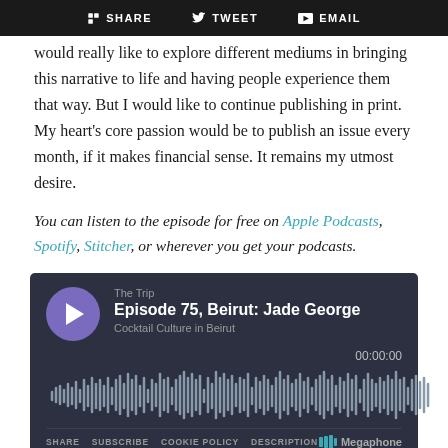SHARE  TWEET  EMAIL
would really like to explore different mediums in bringing this narrative to life and having people experience them that way. But I would like to continue publishing in print. My heart's core passion would be to publish an issue every month, if it makes financial sense. It remains my utmost desire.
You can listen to the episode for free on Apple Podcasts, Spotify, Stitcher, or wherever you get your podcasts.
[Figure (screenshot): Podcast embed player showing 'The Trip' episode 75, Beirut: Jade George - Cocktail Culture in Beirut. Dark background with play button, waveform display, timer 00:00:00, and footer with SHARE, SUBSCRIBE, COOKIE POLICY, DESCRIPTION links and Megaphone logo.]